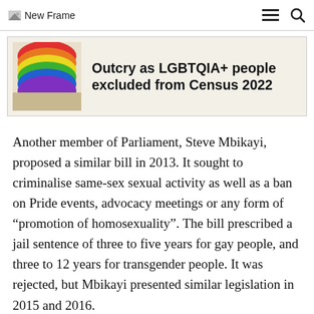New Frame
Outcry as LGBTQIA+ people excluded from Census 2022
Another member of Parliament, Steve Mbikayi, proposed a similar bill in 2013. It sought to criminalise same-sex sexual activity as well as a ban on Pride events, advocacy meetings or any form of “promotion of homosexuality”. The bill prescribed a jail sentence of three to five years for gay people, and three to 12 years for transgender people. It was rejected, but Mbikayi presented similar legislation in 2015 and 2016.